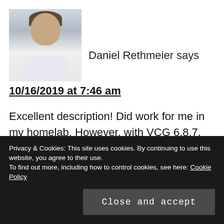[Figure (photo): Profile photo of Daniel Rethmeier, a man with short hair wearing a light-colored shirt, with a building visible in the background]
Daniel Rethmeier says
10/16/2019 at 7:46 am
Excellent description! Did work for me in my homelab. However, with VCG 6.8.7, the UI installer isn't working anymore with that modifications, it seems to have the CPU/Mem checks hard-coded. The CLI installation does work.
Privacy & Cookies: This site uses cookies. By continuing to use this website, you agree to their use.
To find out more, including how to control cookies, see here: Cookie Policy
Close and accept